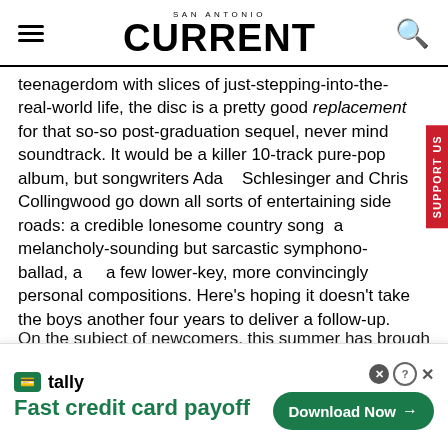SAN ANTONIO CURRENT
teenagerdom with slices of just-stepping-into-the-real-world life, the disc is a pretty good replacement for that so-so post-graduation sequel, never mind soundtrack. It would be a killer 10-track pure-pop album, but songwriters Adam Schlesinger and Chris Collingwood go down all sorts of entertaining side roads: a credible lonesome country song, a melancholy-sounding but sarcastic symphono-ballad, and a few lower-key, more convincingly personal compositions. Here's hoping it doesn't take the boys another four years to deliver a follow-up.
On the subject of newcomers, this summer has brought...
[Figure (other): Tally app advertisement banner: 'Fast credit card payoff' with Download Now button]